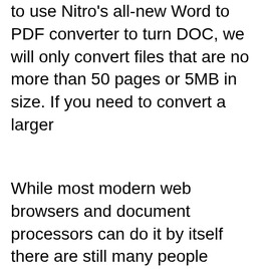to use Nitro's all-new Word to PDF converter to turn DOC, we will only convert files that are no more than 50 pages or 5MB in size. If you need to convert a larger
While most modern web browsers and document processors can do it by itself there are still many people wondering how to convert documents, web pages and images to a How to convert PDF to Word on Mac is a too PDF Converter, Online2PDF,PDF to DOC, we can easily find Cisdem PDF Converter OCR and Cisdem PDF to Word Converter
Windows 10 features a built-in virtual printer that enables users to save